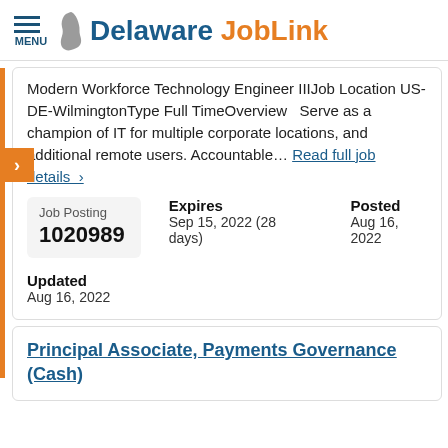Delaware JobLink
Modern Workforce Technology Engineer IIIJob Location US-DE-WilmingtonType Full TimeOverview   Serve as a champion of IT for multiple corporate locations, and additional remote users. Accountable… Read full job details  >
| Job Posting | Expires | Posted |
| --- | --- | --- |
| 1020989 | Sep 15, 2022 (28 days) | Aug 16, 2022 |
Updated
Aug 16, 2022
Principal Associate, Payments Governance (Cash)